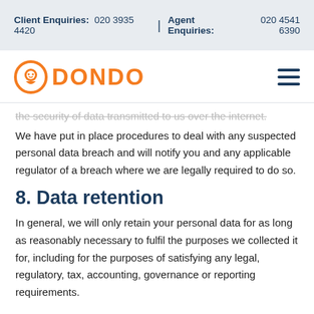Client Enquiries: 020 3935 4420 | Agent Enquiries: 020 4541 6390
[Figure (logo): Dondo logo: orange circular icon with headphone/face symbol and orange text 'DONDO']
the security of data transmitted to us over the internet.
We have put in place procedures to deal with any suspected personal data breach and will notify you and any applicable regulator of a breach where we are legally required to do so.
8. Data retention
In general, we will only retain your personal data for as long as reasonably necessary to fulfil the purposes we collected it for, including for the purposes of satisfying any legal, regulatory, tax, accounting, governance or reporting requirements.